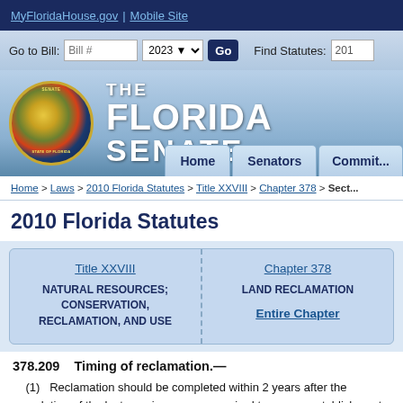MyFloridaHouse.gov | Mobile Site
[Figure (screenshot): Florida Senate website navigation bar with Go to Bill input, year selector 2023, Go button, Find Statutes input]
[Figure (logo): The Florida Senate logo with state seal and navigation tabs: Home, Senators, Committees]
Home > Laws > 2010 Florida Statutes > Title XXVIII > Chapter 378 > Sect...
2010 Florida Statutes
| Title XXVIII | Chapter 378 |
| --- | --- |
| NATURAL RESOURCES; CONSERVATION, RECLAMATION, AND USE | LAND RECLAMATION

Entire Chapter |
378.209   Timing of reclamation.—
(1)   Reclamation should be completed within 2 years after the completion of the last growing season required to ensure establishment of vegetation. For purposes of this section, completion occurs when initial revegetation is completed and not at the time of final release. For purposes of s. 378.208, the schedule for complete reclamation is as prescribed in para...